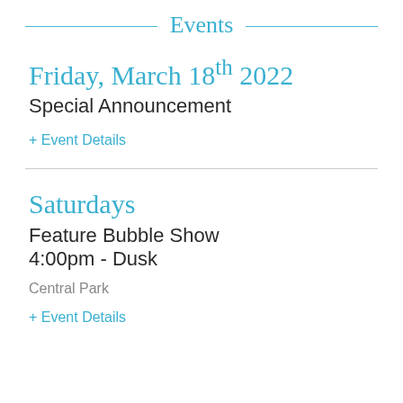Events
Friday, March 18th 2022
Special Announcement
+ Event Details
Saturdays
Feature Bubble Show
4:00pm - Dusk
Central Park
+ Event Details